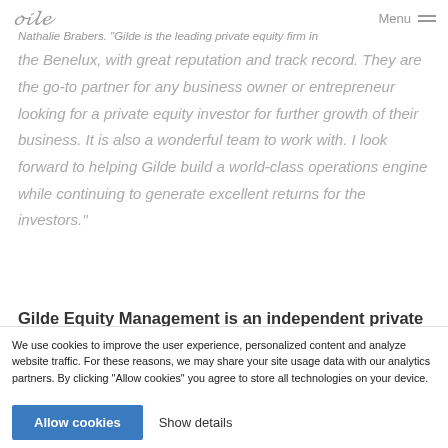Gilde | Menu
Nathalie Brabers. "Gilde is the leading private equity firm in the Benelux, with great reputation and track record. They are the go-to partner for any business owner or entrepreneur looking for a private equity investor for further growth of their business. It is also a wonderful team to work with. I look forward to helping Gilde build a world-class operations engine while continuing to generate excellent returns for the investors."
Gilde Equity Management is an independent private
We use cookies to improve the user experience, personalized content and analyze website traffic. For these reasons, we may share your site usage data with our analytics partners. By clicking "Allow cookies" you agree to store all technologies on your device.
Allow cookies    Show details